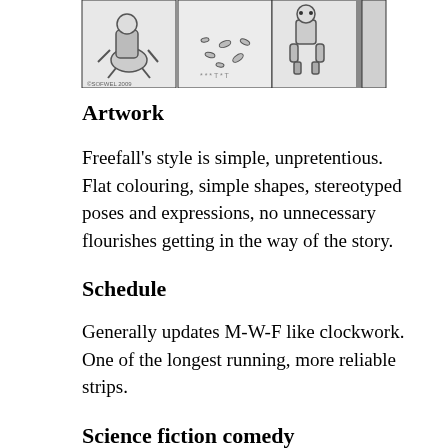[Figure (illustration): Three-panel black and white comic strip showing robot/mechanical characters in various poses. Left panel shows a figure on the ground, middle panel shows scattered objects, right panel shows a robot-like character.]
Artwork
Freefall's style is simple, unpretentious. Flat colouring, simple shapes, stereotyped poses and expressions, no unnecessary flourishes getting in the way of the story.
Schedule
Generally updates M-W-F like clockwork. One of the longest running, more reliable strips.
Science fiction comedy